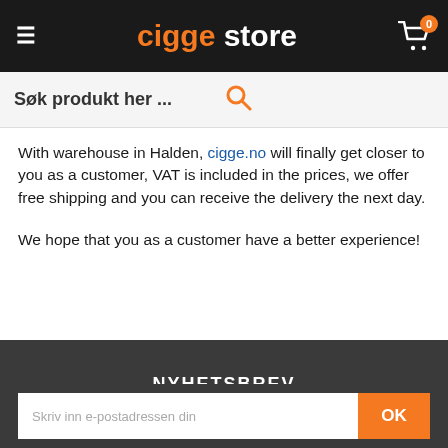cigge store
Søk produkt her ...
With warehouse in Halden, cigge.no will finally get closer to you as a customer, VAT is included in the prices, we offer free shipping and you can receive the delivery the next day.
We hope that you as a customer have a better experience!
NYHETSBREV
Dra nytte av tilbudene våre før alle andre!
Skriv inn e-postadressen din